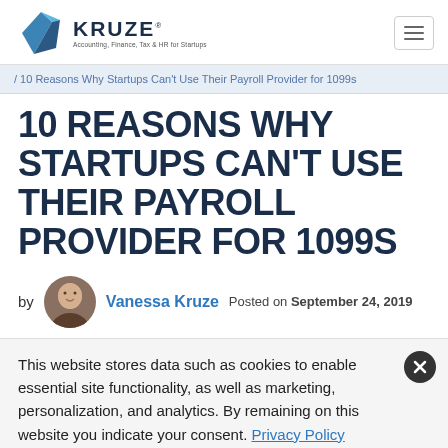Kruze Consulting — Accounting, Finance, Tax & HR for Startups
/ 10 Reasons Why Startups Can't Use Their Payroll Provider for 1099s
10 REASONS WHY STARTUPS CAN'T USE THEIR PAYROLL PROVIDER FOR 1099S
by Vanessa Kruze  Posted on September 24, 2019
This website stores data such as cookies to enable essential site functionality, as well as marketing, personalization, and analytics. By remaining on this website you indicate your consent. Privacy Policy